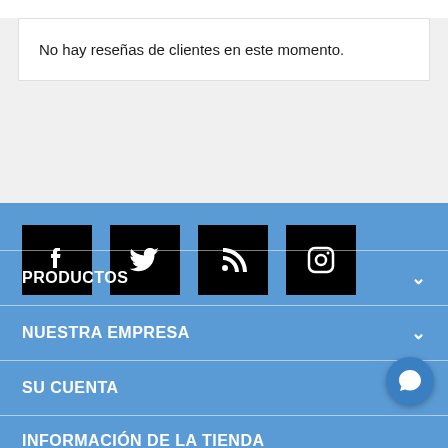No hay reseñas de clientes en este momento.
[Figure (illustration): Social media icons: Facebook, Twitter, RSS feed, Instagram — white icons on black square backgrounds]
PRODUCTOS
NUESTRA EMPRESA
SU CUENTA
INFORMACIÓN DE LA TIENDA